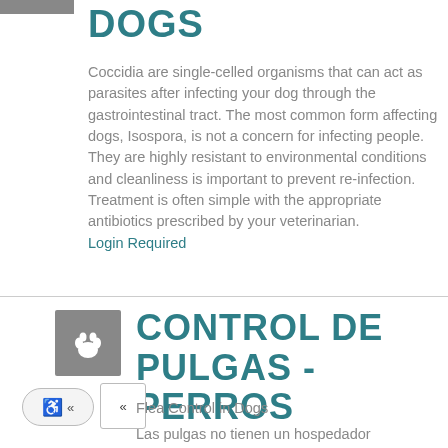DOGS
Coccidia are single-celled organisms that can act as parasites after infecting your dog through the gastrointestinal tract. The most common form affecting dogs, Isospora, is not a concern for infecting people. They are highly resistant to environmental conditions and cleanliness is important to prevent re-infection. Treatment is often simple with the appropriate antibiotics prescribed by your veterinarian. Login Required
CONTROL DE PULGAS - PERROS
Flea Control in Dogs
Las pulgas no tienen un hospedador específica. Los gatos y los perros